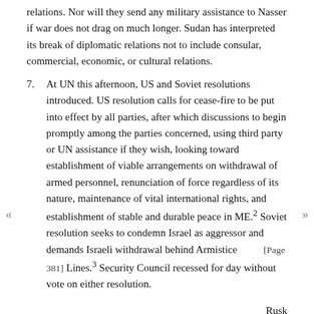relations. Nor will they send any military assistance to Nasser if war does not drag on much longer. Sudan has interpreted its break of diplomatic relations not to include consular, commercial, economic, or cultural relations.
7. At UN this afternoon, US and Soviet resolutions introduced. US resolution calls for cease-fire to be put into effect by all parties, after which discussions to begin promptly among the parties concerned, using third party or UN assistance if they wish, looking toward establishment of viable arrangements on withdrawal of armed personnel, renunciation of force regardless of its nature, maintenance of vital international rights, and establishment of stable and durable peace in ME.² Soviet resolution seeks to condemn Israel as aggressor and demands Israeli withdrawal behind Armistice [Page 381] Lines.³ Security Council recessed for day without vote on either resolution.
Rusk
1. Source: National Archives and Records Administration, RG 59,